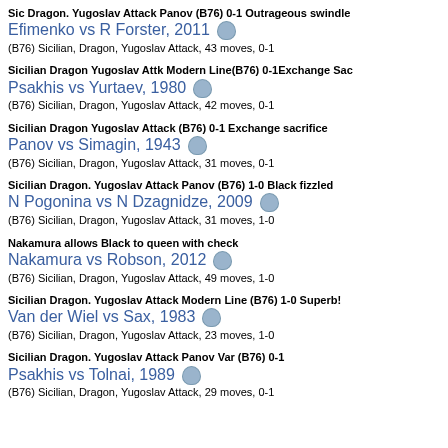Sic Dragon. Yugoslav Attack Panov (B76) 0-1 Outrageous swindle
Efimenko vs R Forster, 2011
(B76) Sicilian, Dragon, Yugoslav Attack, 43 moves, 0-1
Sicilian Dragon Yugoslav Attk Modern Line(B76) 0-1Exchange Sac
Psakhis vs Yurtaev, 1980
(B76) Sicilian, Dragon, Yugoslav Attack, 42 moves, 0-1
Sicilian Dragon Yugoslav Attack (B76) 0-1 Exchange sacrifice
Panov vs Simagin, 1943
(B76) Sicilian, Dragon, Yugoslav Attack, 31 moves, 0-1
Sicilian Dragon. Yugoslav Attack Panov (B76) 1-0 Black fizzled
N Pogonina vs N Dzagnidze, 2009
(B76) Sicilian, Dragon, Yugoslav Attack, 31 moves, 1-0
Nakamura allows Black to queen with check
Nakamura vs Robson, 2012
(B76) Sicilian, Dragon, Yugoslav Attack, 49 moves, 1-0
Sicilian Dragon. Yugoslav Attack Modern Line (B76) 1-0 Superb!
Van der Wiel vs Sax, 1983
(B76) Sicilian, Dragon, Yugoslav Attack, 23 moves, 1-0
Sicilian Dragon. Yugoslav Attack Panov Var (B76) 0-1
Psakhis vs Tolnai, 1989
(B76) Sicilian, Dragon, Yugoslav Attack, 29 moves, 0-1